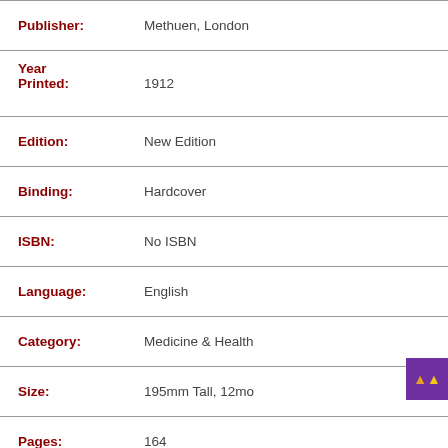| Field | Value |
| --- | --- |
| Publisher: | Methuen, London |
| Year Printed: | 1912 |
| Edition: | New Edition |
| Binding: | Hardcover |
| ISBN: | No ISBN |
| Language: | English |
| Category: | Medicine & Health |
| Size: | 195mm Tall, 12mo |
| Pages: | 164 |